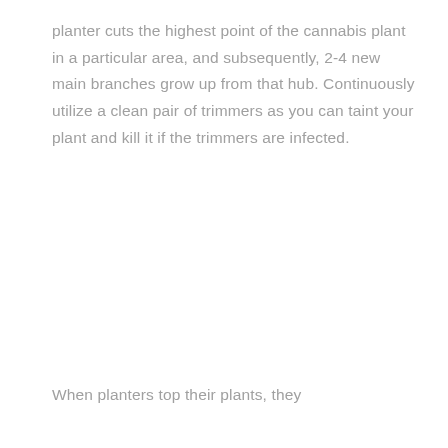planter cuts the highest point of the cannabis plant in a particular area, and subsequently, 2-4 new main branches grow up from that hub. Continuously utilize a clean pair of trimmers as you can taint your plant and kill it if the trimmers are infected.
When planters top their plants, they